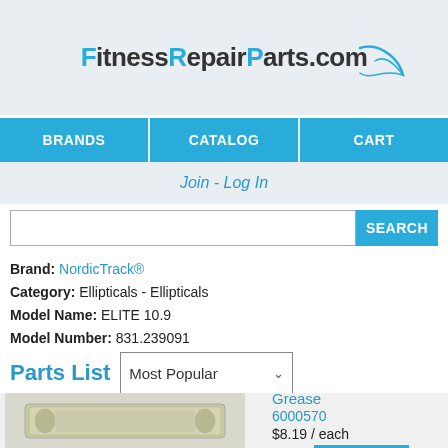[Figure (logo): FitnessRepairParts.com logo with blue swoosh]
BRANDS | CATALOG | CART
Join - Log In
SEARCH
Brand: NordicTrack®
Category: Ellipticals - Ellipticals
Model Name: ELITE 10.9
Model Number: 831.239091
Parts List
Most Popular
Grease
6000570
$8.19 / each
1 ADD TO CART